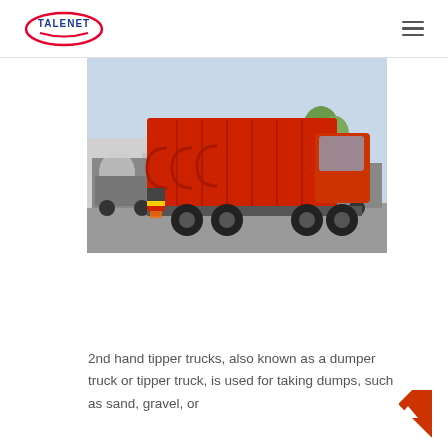TALENET
[Figure (photo): Red dump/tipper truck parked in a yard with concrete mixer trucks visible in the background.]
2nd hand tipper trucks, also known as a dumper truck or tipper truck, is used for taking dumps, such as sand, gravel, or